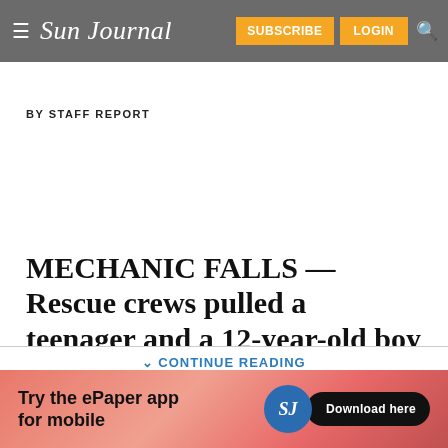Sun Journal — SUBSCRIBE LOGIN
BY STAFF REPORT
MECHANIC FALLS — Rescue crews pulled a teenager and a 12-year-old boy from the Little Androscoggin River late Tuesday after the pair got stranded on a rock for more than an hour.
CONTINUE READING
[Figure (infographic): Advertisement banner for Sun Journal ePaper app: 'Try the ePaper app for mobile' with SJ badge and 'Download here' button on coral/pink background]